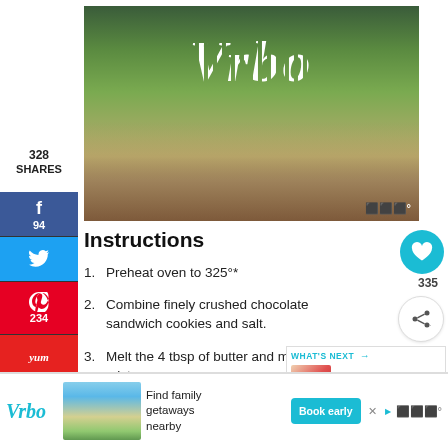[Figure (photo): Vrbo promotional image showing a beachside property with palm trees and the Vrbo logo in decorative striped lettering]
328 SHARES
[Figure (infographic): Social sharing sidebar with Facebook (94), Twitter, Pinterest (234), Yummly, Mix, and heart/share buttons]
Instructions
Preheat oven to 325°*
Combine finely crushed chocolate sandwich cookies and salt.
Melt the 4 tbsp of butter and mix in the mixture
Spray the bottom and sides of the springform pan/s
[Figure (infographic): What's Next panel showing Instant Pot Strawberry... with a thumbnail image]
[Figure (photo): Vrbo advertisement banner at bottom: Find family getaways nearby with Book early button]